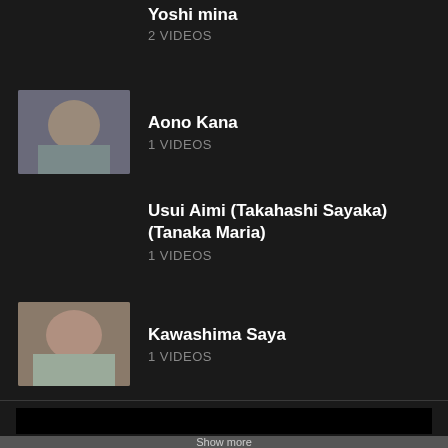2 VIDEOS
Aono Kana
1 VIDEOS
Usui Aimi (Takahashi Sayaka) (Tanaka Maria)
1 VIDEOS
Kawashima Saya
1 VIDEOS
[Figure (other): Black video player rectangle]
Show more